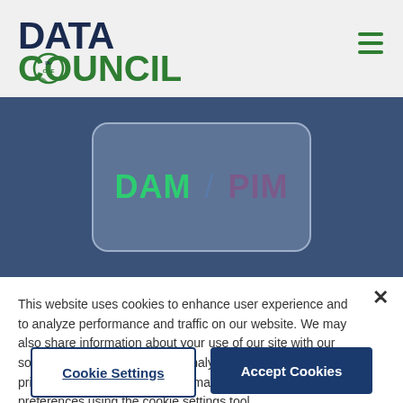[Figure (logo): Data Council logo with stylized DATA COUNCIL text and IX-ONE circular emblem]
[Figure (illustration): Hero banner with dark blue background showing a rounded card with DAM / PIM text, DAM in green and PIM in purple/maroon]
This website uses cookies to enhance user experience and to analyze performance and traffic on our website. We may also share information about your use of our site with our social media, advertising and analytics partners. Visit our privacy policy to learn more, or manage your personal preferences using the cookie settings tool.
Cookie Settings
Accept Cookies